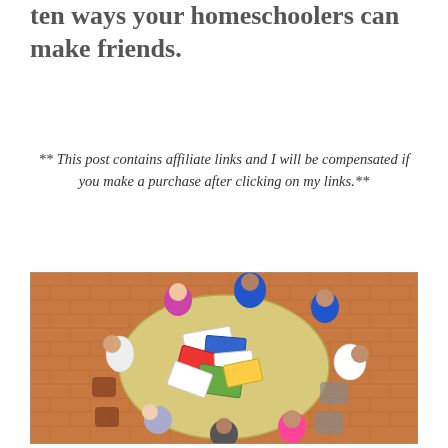ten ways your homeschoolers can make friends.
** This post contains affiliate links and I will be compensated if you make a purchase after clicking on my links.**
[Figure (photo): Overhead aerial view of a group of students sitting around a round table studying together, with books and papers spread on the table, on a brick floor background.]